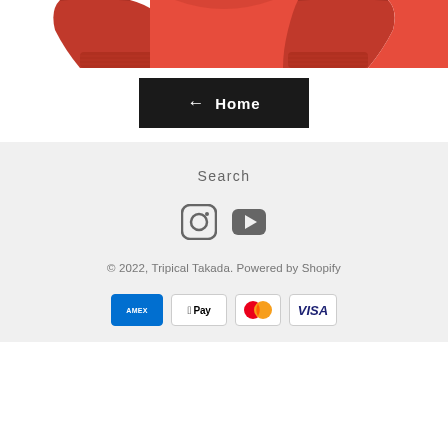[Figure (photo): Red garment/hoodie partially visible at top of page, cropped]
← Home
Search
[Figure (other): Instagram and YouTube social media icons]
© 2022, Tripical Takada. Powered by Shopify
[Figure (other): Payment method icons: American Express, Apple Pay, Mastercard, Visa]